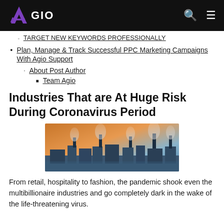AGIO
TARGET NEW KEYWORDS PROFESSIONALLY
Plan, Manage & Track Successful PPC Marketing Campaigns With Agio Support
About Post Author
Team Agio
Industries That are At Huge Risk During Coronavirus Period
[Figure (photo): Industrial factory scene with smokestacks emitting smoke against an orange and blue sky]
From retail, hospitality to fashion, the pandemic shook even the multibillionaire industries and go completely dark in the wake of the life-threatening virus.